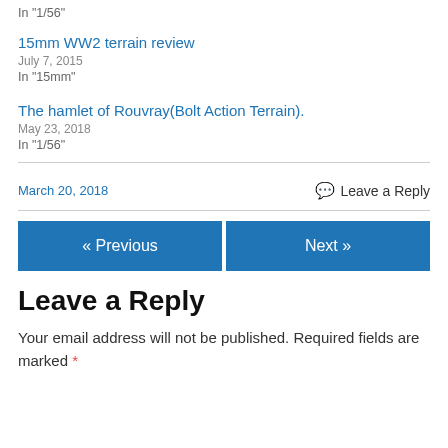In "1/56"
15mm WW2 terrain review
July 7, 2015
In "15mm"
The hamlet of Rouvray(Bolt Action Terrain).
May 23, 2018
In "1/56"
March 20, 2018
Leave a Reply
« Previous
Next »
Leave a Reply
Your email address will not be published. Required fields are marked *